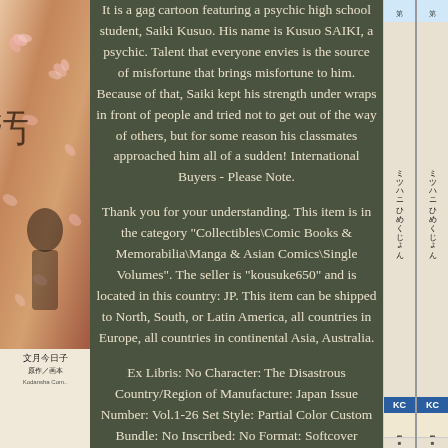[Figure (photo): Left side: Japanese manga book cover with floral/sakura background art and female figure, text in Japanese including kanji characters, publisher 'Kodansha Comics' at bottom]
It is a gag cartoon featuring a psychic high school student, Saiki Kusuo. His name is Kusuo SAIKI, a psychic. Talent that everyone envies is the source of misfortune that brings misfortune to him. Because of that, Saiki kept his strength under wraps in front of people and tried not to get out of the way of others, but for some reason his classmates approached him all of a sudden! International Buyers - Please Note.
Thank you for your understanding. This item is in the category "Collectibles\Comic Books & Memorabilia\Manga & Asian Comics\Single Volumes". The seller is "kousuke650" and is located in this country: JP. This item can be shipped to North, South, or Latin America, all countries in Europe, all countries in continental Asia, Australia.
Ex Libris: No Character: The Disastrous Country/Region of Manufacture: Japan Issue Number: Vol.1-26 Set Style: Partial Color Custom Bundle: No Inscribed: No Format: Softcover Series: Saiki Kusuo no Psi-nan Grade: 1.0 Fair Type:
[Figure (photo): Right side: Two Japanese manga book spines side by side, with Japanese text vertically, KC logo in blue, author names in Japanese]